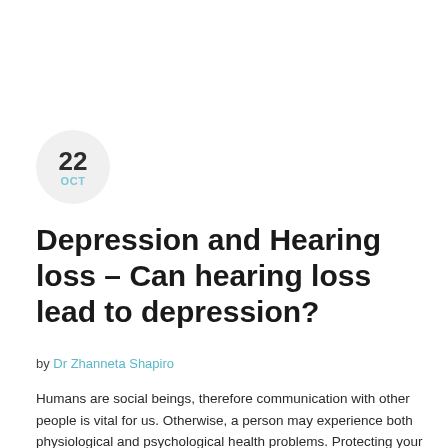22 OCT
Depression and Hearing loss – Can hearing loss lead to depression?
by Dr Zhanneta Shapiro
Humans are social beings, therefore communication with other people is vital for us. Otherwise, a person may experience both physiological and psychological health problems. Protecting your hearing means protecting your health in general.
Do you have mood swings? Have you started not getting enough